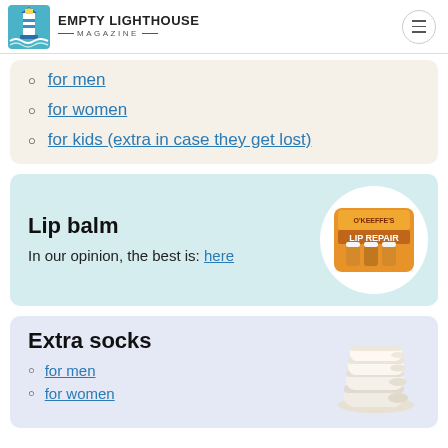Empty Lighthouse Magazine
for men
for women
for kids (extra in case they get lost)
Lip balm
In our opinion, the best is: here
[Figure (photo): O'Keeffe's Lip Repair lip balm sticks in orange packaging]
Extra socks
for men
for women
[Figure (photo): White ankle socks stacked]